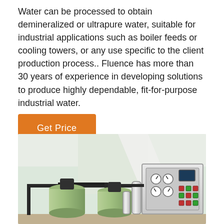Water can be processed to obtain demineralized or ultrapure water, suitable for industrial applications such as boiler feeds or cooling towers, or any use specific to the client production process.. Fluence has more than 30 years of experience in developing solutions to produce highly dependable, fit-for-purpose industrial water.
[Figure (other): Button labeled Get Price with orange background]
[Figure (photo): Industrial water treatment equipment showing green cylindrical filter tanks with black valve heads on the left and a stainless steel reverse osmosis or demineralization unit on the right, inside an industrial facility.]